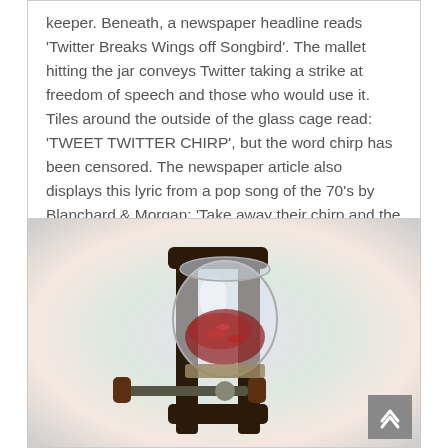keeper. Beneath, a newspaper headline reads 'Twitter Breaks Wings off Songbird'. The mallet hitting the jar conveys Twitter taking a strike at freedom of speech and those who would use it. Tiles around the outside of the glass cage read: 'TWEET TWITTER CHIRP', but the word chirp has been censored. The newspaper article also displays this lyric from a pop song of the 70's by Blanchard & Morgan: 'Take away their chirp and the birds will have to whisper when they sing'.
[Figure (photo): A glass mason jar held in a large C-clamp or vise, with reddish contents inside the jar. The clamp is dark brown/black metal with a screw mechanism and wooden handles. Background is a soft blurred light gradient (white, lavender, peach tones).]